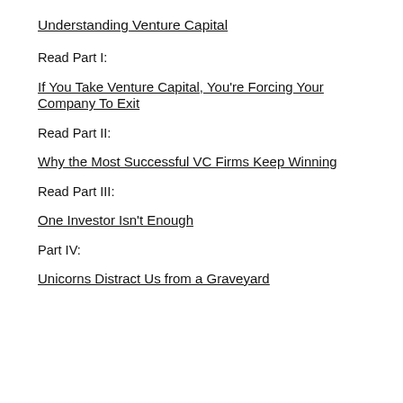Understanding Venture Capital
Read Part I:
If You Take Venture Capital, You're Forcing Your Company To Exit
Read Part II:
Why the Most Successful VC Firms Keep Winning
Read Part III:
One Investor Isn't Enough
Part IV:
Unicorns Distract Us from a Graveyard